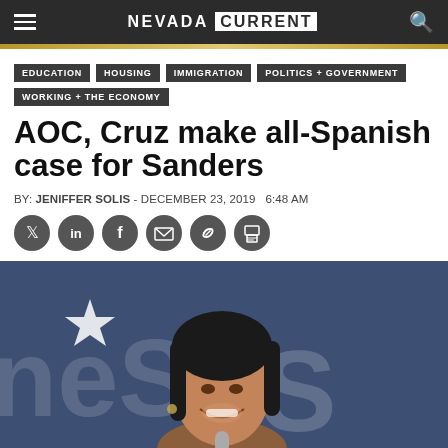NEVADA CURRENT
EDUCATION
HOUSING
IMMIGRATION
POLITICS + GOVERNMENT
WORKING + THE ECONOMY
AOC, Cruz make all-Spanish case for Sanders
BY: JENIFFER SOLIS - DECEMBER 23, 2019   6:48 AM
[Figure (photo): Woman smiling at an event in front of a dark blue banner with star and large letters, holding a microphone. Appears to be Alexandria Ocasio-Cortez at a Bernie Sanders campaign rally.]